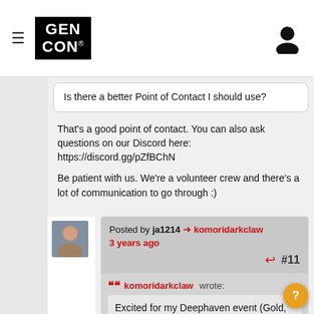GEN CON (logo) | hamburger menu | user icon
Is there a better Point of Contact I should use?
That's a good point of contact. You can also ask questions on our Discord here:  https://discord.gg/pZfBChN

Be patient with us. We're a volunteer crew and there's a lot of communication to go through :)
Posted by ja1214 ➤ komoridarkclaw
3 years ago
#11
komoridarkclaw wrote:
Excited for my Deephaven event (Gold, gold, gold. Is my favorite